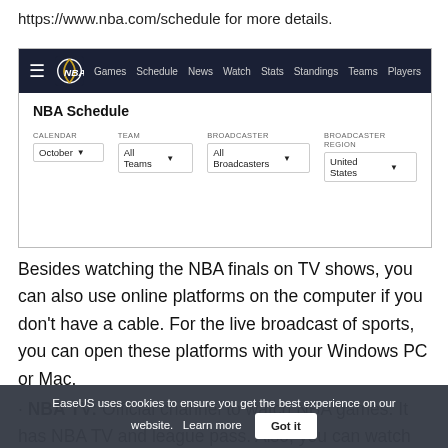https://www.nba.com/schedule for more details.
[Figure (screenshot): Screenshot of the NBA website showing the NBA Schedule page with navigation bar (Games, Schedule, News, Watch, Stats, Standings, Teams, Players) and filter dropdowns for Calendar (October), Team (All Teams), Broadcaster (All Broadcasters), and Broadcaster Region (United States).]
Besides watching the NBA finals on TV shows, you can also use online platforms on the computer if you don't have a cable. For the live broadcast of sports, you can open these platforms with your Windows PC or Mac.
NBA TV: Official channel to watch NBA games. It has NBA TV and league pass. Also, you can watch
EaseUS uses cookies to ensure you get the best experience on our website.   Learn more   Got it